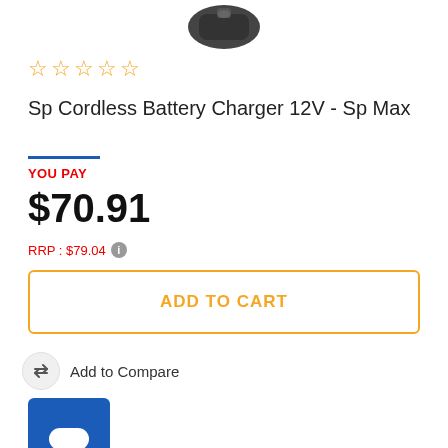[Figure (photo): Partial view of a cordless battery charger product image at top of page]
☆☆☆☆☆ (star rating, all empty)
Sp Cordless Battery Charger 12V - Sp Max
YOU PAY
$70.91
RRP : $79.04
ADD TO CART
Add to Compare
[Figure (screenshot): Blue chat/messaging button widget in bottom left]